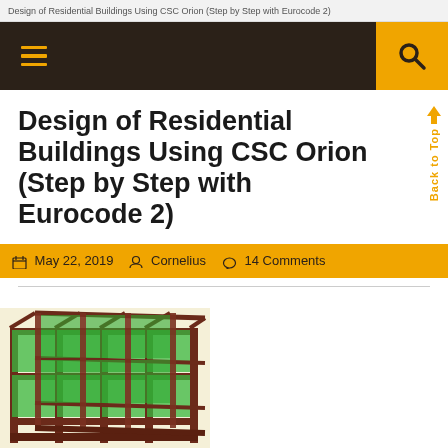Design of Residential Buildings Using CSC Orion (Step by Step with Eurocode 2)
[Figure (screenshot): Website navigation bar with dark brown background, hamburger menu icon on left in orange/yellow, and search icon on right with orange background]
Design of Residential Buildings Using CSC Orion (Step by Step with Eurocode 2)
May 22, 2019   Cornelius   14 Comments
[Figure (illustration): 3D structural model of a residential building showing green concrete slabs and brown/dark red columns and beams frame, rendered in CSC Orion software]